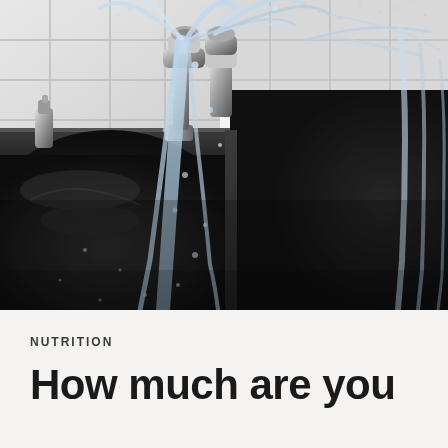[Figure (photo): Close-up photograph of water splashing dramatically from a kitchen faucet into a stainless steel sink. Water droplets and streams are captured mid-motion. Chrome faucet fixtures and a white tile backsplash are visible in the background.]
NUTRITION
How much are you